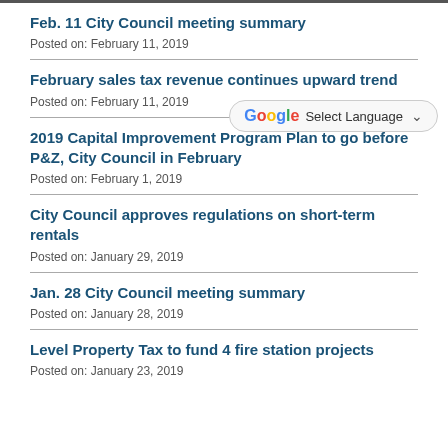Feb. 11 City Council meeting summary
Posted on: February 11, 2019
February sales tax revenue continues upward trend
Posted on: February 11, 2019
2019 Capital Improvement Program Plan to go before P&Z, City Council in February
Posted on: February 1, 2019
City Council approves regulations on short-term rentals
Posted on: January 29, 2019
Jan. 28 City Council meeting summary
Posted on: January 28, 2019
Level Property Tax to fund 4 fire station projects
Posted on: January 23, 2019